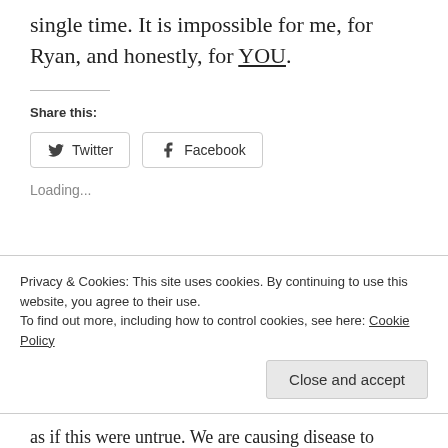single time. It is impossible for me, for Ryan, and honestly, for YOU.
Share this:
Twitter  Facebook
Loading...
Privacy & Cookies: This site uses cookies. By continuing to use this website, you agree to their use.
To find out more, including how to control cookies, see here: Cookie Policy
Close and accept
as if this were untrue. We are causing disease to